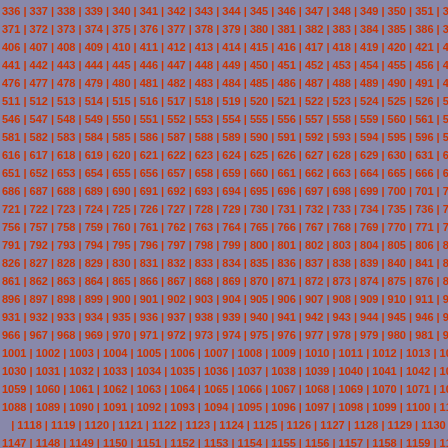336 | 337 | 338 | 339 | 340 | 341 | 342 | 343 | 344 | 345 | 346 | 347 | 348 | 349 | 350 | 351 | 352 | 353 | 371 | 372 | 373 | 374 | 375 | 376 | 377 | 378 | 379 | 380 | 381 | 382 | 383 | 384 | 385 | 386 | 387 | 388 | 406 | 407 | 408 | 409 | 410 | 411 | 412 | 413 | 414 | 415 | 416 | 417 | 418 | 419 | 420 | 421 | 422 | 423 | 441 | 442 | 443 | 444 | 445 | 446 | 447 | 448 | 449 | 450 | 451 | 452 | 453 | 454 | 455 | 456 | 457 | 458 | 476 | 477 | 478 | 479 | 480 | 481 | 482 | 483 | 484 | 485 | 486 | 487 | 488 | 489 | 490 | 491 | 492 | 493 | 511 | 512 | 513 | 514 | 515 | 516 | 517 | 518 | 519 | 520 | 521 | 522 | 523 | 524 | 525 | 526 | 527 | 528 | 546 | 547 | 548 | 549 | 550 | 551 | 552 | 553 | 554 | 555 | 556 | 557 | 558 | 559 | 560 | 561 | 562 | 563 | 581 | 582 | 583 | 584 | 585 | 586 | 587 | 588 | 589 | 590 | 591 | 592 | 593 | 594 | 595 | 596 | 597 | 598 | 616 | 617 | 618 | 619 | 620 | 621 | 622 | 623 | 624 | 625 | 626 | 627 | 628 | 629 | 630 | 631 | 632 | 633 | 651 | 652 | 653 | 654 | 655 | 656 | 657 | 658 | 659 | 660 | 661 | 662 | 663 | 664 | 665 | 666 | 667 | 668 | 686 | 687 | 688 | 689 | 690 | 691 | 692 | 693 | 694 | 695 | 696 | 697 | 698 | 699 | 700 | 701 | 702 | 703 | 721 | 722 | 723 | 724 | 725 | 726 | 727 | 728 | 729 | 730 | 731 | 732 | 733 | 734 | 735 | 736 | 737 | 738 | 756 | 757 | 758 | 759 | 760 | 761 | 762 | 763 | 764 | 765 | 766 | 767 | 768 | 769 | 770 | 771 | 772 | 773 | 791 | 792 | 793 | 794 | 795 | 796 | 797 | 798 | 799 | 800 | 801 | 802 | 803 | 804 | 805 | 806 | 807 | 808 | 826 | 827 | 828 | 829 | 830 | 831 | 832 | 833 | 834 | 835 | 836 | 837 | 838 | 839 | 840 | 841 | 842 | 843 | 861 | 862 | 863 | 864 | 865 | 866 | 867 | 868 | 869 | 870 | 871 | 872 | 873 | 874 | 875 | 876 | 877 | 878 | 896 | 897 | 898 | 899 | 900 | 901 | 902 | 903 | 904 | 905 | 906 | 907 | 908 | 909 | 910 | 911 | 912 | 913 | 931 | 932 | 933 | 934 | 935 | 936 | 937 | 938 | 939 | 940 | 941 | 942 | 943 | 944 | 945 | 946 | 947 | 948 | 966 | 967 | 968 | 969 | 970 | 971 | 972 | 973 | 974 | 975 | 976 | 977 | 978 | 979 | 980 | 981 | 982 | 983 | 1001 | 1002 | 1003 | 1004 | 1005 | 1006 | 1007 | 1008 | 1009 | 1010 | 1011 | 1012 | 1013 | 1014 | 1015 | 1030 | 1031 | 1032 | 1033 | 1034 | 1035 | 1036 | 1037 | 1038 | 1039 | 1040 | 1041 | 1042 | 1043 | 1044 | 1059 | 1060 | 1061 | 1062 | 1063 | 1064 | 1065 | 1066 | 1067 | 1068 | 1069 | 1070 | 1071 | 1072 | 1073 | 1088 | 1089 | 1090 | 1091 | 1092 | 1093 | 1094 | 1095 | 1096 | 1097 | 1098 | 1099 | 1100 | 1101 | 1102 | 1118 | 1119 | 1120 | 1121 | 1122 | 1123 | 1124 | 1125 | 1126 | 1127 | 1128 | 1129 | 1130 | 1131 | 1132 | 1147 | 1148 | 1149 | 1150 | 1151 | 1152 | 1153 | 1154 | 1155 | 1156 | 1157 | 1158 | 1159 | 1160 | 1161